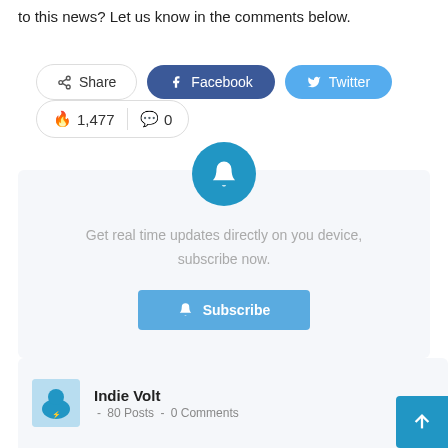to this news? Let us know in the comments below.
[Figure (infographic): Stats bar showing 1,477 fire/hot reactions and 0 comments, with Share, Facebook, and Twitter buttons]
[Figure (infographic): Notification subscription card with bell icon, text 'Get real time updates directly on you device, subscribe now.' and a Subscribe button]
[Figure (infographic): Author card showing Indie Volt avatar, name Indie Volt, 80 Posts, 0 Comments, with scroll-to-top button]